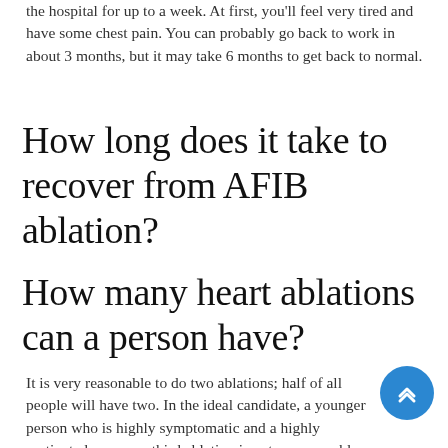the hospital for up to a week. At first, you'll feel very tired and have some chest pain. You can probably go back to work in about 3 months, but it may take 6 months to get back to normal.
How long does it take to recover from AFIB ablation?
How many heart ablations can a person have?
It is very reasonable to do two ablations; half of all people will have two. In the ideal candidate, a younger person who is highly symptomatic and a highly motivated person, a third ablation is not unreasonable. It should be an infinitesimal